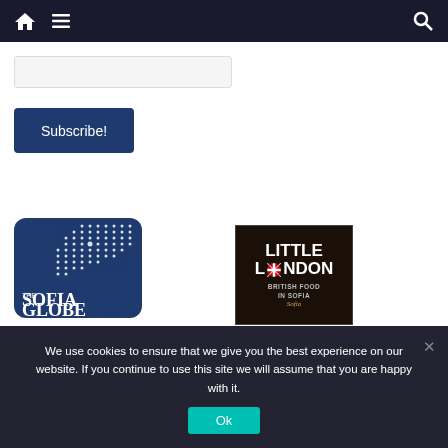Navigation bar with home, menu, and search icons
Subscribe!
[Figure (logo): The Sofia Globe logo — dark blue rounded square with white dot pattern and white text reading THE SOFIA GLOBE]
[Figure (logo): Little London British Food in Sofia logo — dark background with white bold text LITTLE LONDON, UK flag, BRITISH FOOD IN SOFIA, Sofia in gold italic]
We use cookies to ensure that we give you the best experience on our website. If you continue to use this site we will assume that you are happy with it.
Ok